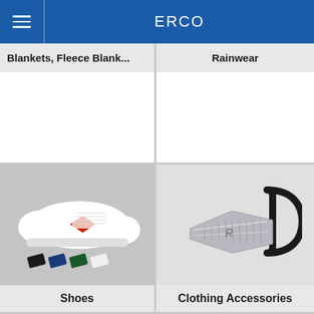ERCO
Blankets, Fleece Blank...
Rainwear
[Figure (photo): White sneaker/shoe with red diamond logo patch on side, shown with four color tab variants (black, navy, green, white) below]
Shoes
[Figure (photo): Silver metallic shoe horn or zipper pull with black cord loop, branded with a stylized logo]
Clothing Accessories